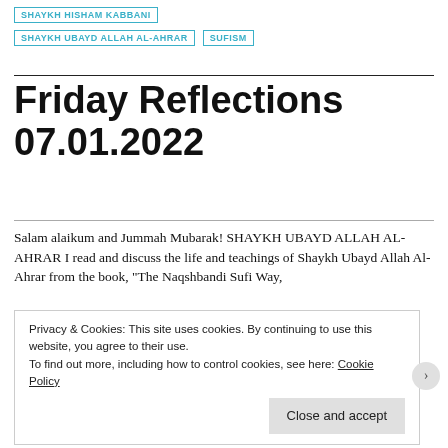SHAYKH HISHAM KABBANI
SHAYKH UBAYD ALLAH AL-AHRAR
SUFISM
Friday Reflections 07.01.2022
Salam alaikum and Jummah Mubarak! SHAYKH UBAYD ALLAH AL-AHRAR I read and discuss the life and teachings of Shaykh Ubayd Allah Al-Ahrar from the book, “The Naqshbandi Sufi Way,
Privacy & Cookies: This site uses cookies. By continuing to use this website, you agree to their use.
To find out more, including how to control cookies, see here: Cookie Policy
Close and accept